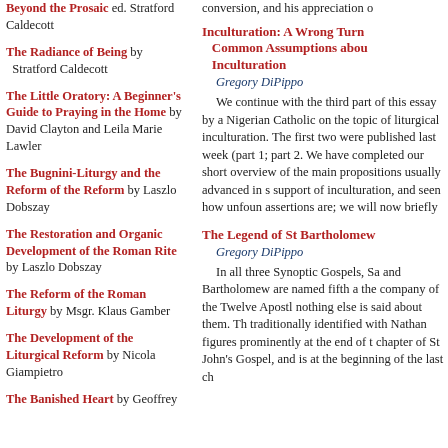Beyond the Prosaic ed. Stratford Caldecott
The Radiance of Being by Stratford Caldecott
The Little Oratory: A Beginner's Guide to Praying in the Home by David Clayton and Leila Marie Lawler
The Bugnini-Liturgy and the Reform of the Reform by Laszlo Dobszay
The Restoration and Organic Development of the Roman Rite by Laszlo Dobszay
The Reform of the Roman Liturgy by Msgr. Klaus Gamber
The Development of the Liturgical Reform by Nicola Giampietro
The Banished Heart by Geoffrey
conversion, and his appreciation o
Inculturation: A Wrong Turn Common Assumptions about Inculturation
Gregory DiPippo
We continue with the third part of this essay by a Nigerian Catholic on the topic of liturgical inculturation. The first two were published last week (part 1; part 2. We have completed our short overview of the main propositions usually advanced in support of inculturation, and seen how unfounded these assertions are; we will now briefly
The Legend of St Bartholomew
Gregory DiPippo
In all three Synoptic Gospels, Sa and Bartholomew are named fifth a the company of the Twelve Apostl nothing else is said about them. Th traditionally identified with Nathan figures prominently at the end of t chapter of St John's Gospel, and is at the beginning of the last ch